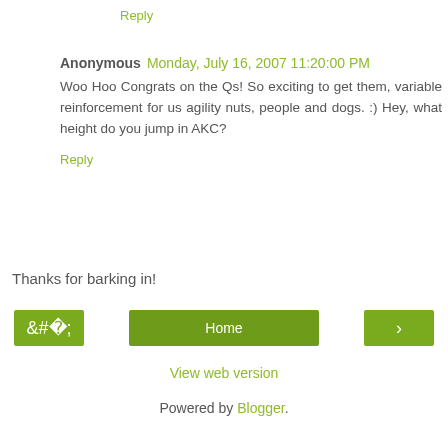Reply
Anonymous  Monday, July 16, 2007 11:20:00 PM
Woo Hoo Congrats on the Qs! So exciting to get them, variable reinforcement for us agility nuts, people and dogs. :) Hey, what height do you jump in AKC?
Reply
Thanks for barking in!
Home
View web version
Powered by Blogger.